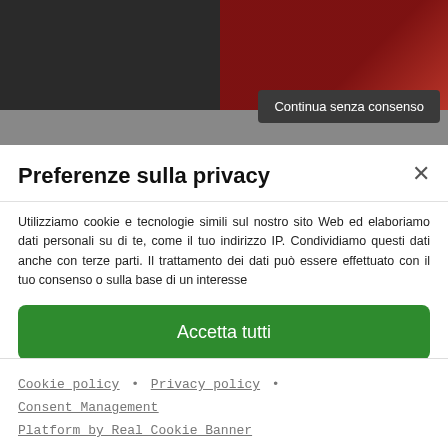[Figure (screenshot): Two background photos: left is dark/black, right shows a red guitar case with Fender branding]
Continua senza consenso
Preferenze sulla privacy
Utilizziamo cookie e tecnologie simili sul nostro sito Web ed elaboriamo dati personali su di te, come il tuo indirizzo IP. Condividiamo questi dati anche con terze parti. Il trattamento dei dati può essere effettuato con il tuo consenso o sulla base di un interesse
Accetta tutti
Continua senza consenso
Preferenze sulla privacy individuali
Cookie policy • Privacy policy • Consent Management Platform by Real Cookie Banner